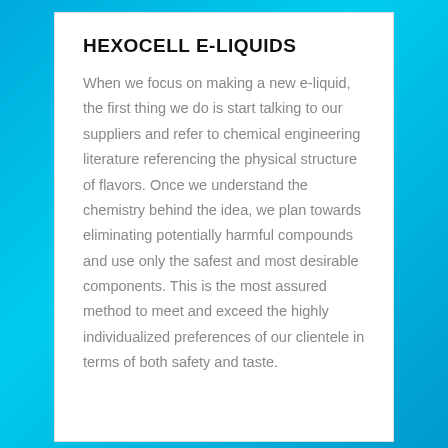HEXOCELL E-LIQUIDS
When we focus on making a new e-liquid, the first thing we do is start talking to our suppliers and refer to chemical engineering literature referencing the physical structure of flavors. Once we understand the chemistry behind the idea, we plan towards eliminating potentially harmful compounds and use only the safest and most desirable components. This is the most assured method to meet and exceed the highly individualized preferences of our clientele in terms of both safety and taste.